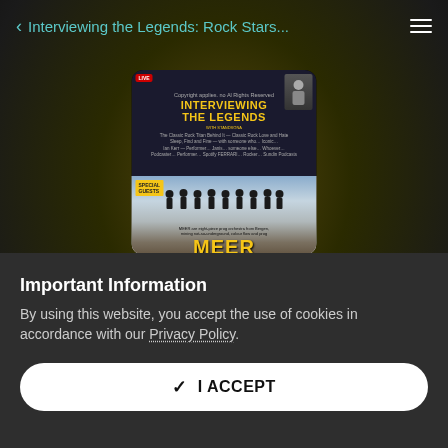< Interviewing the Legends: Rock Stars...
[Figure (illustration): Album/podcast artwork for 'Interviewing the Legends' showing two panels: top panel with 'INTERVIEWING THE LEGENDS' in yellow text on dark blue, bottom panel showing a band (MEER) standing outdoors with text 'SPECIAL GUESTS' badge and 'MEER' in large yellow letters]
Interviewing the Legends: Rock Stars & Celebs
MEER Incredible Norwegian Prog
Important Information
By using this website, you accept the use of cookies in accordance with our Privacy Policy.
I ACCEPT